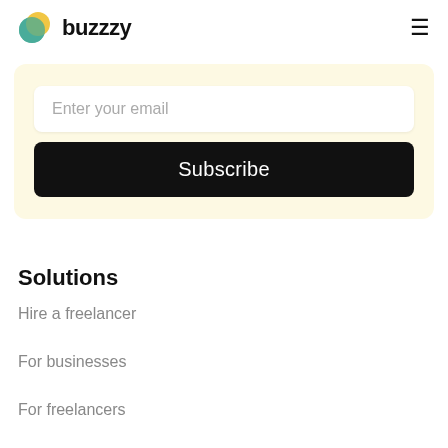buzzzy
[Figure (logo): Buzzzy logo with overlapping yellow and teal circles, and bold text 'buzzzy']
Enter your email
Subscribe
Solutions
Hire a freelancer
For businesses
For freelancers